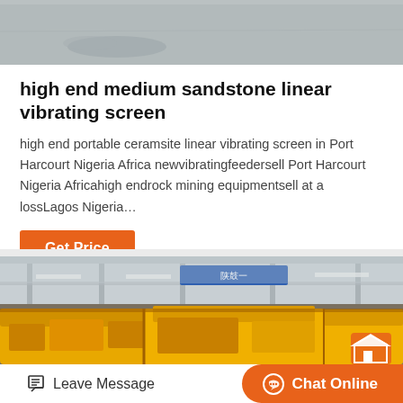[Figure (photo): Gray concrete or stone surface texture, top portion of a product card]
high end medium sandstone linear vibrating screen
high end portable ceramsite linear vibrating screen in Port Harcourt Nigeria Africa newvibratingfeedersell Port Harcourt Nigeria Africahigh endrock mining equipmentsell at a lossLagos Nigeria…
Get Price
[Figure (photo): Industrial factory floor with large yellow mining/crushing equipment machines under a metal roof structure with blue signage]
Leave Message
Chat Online